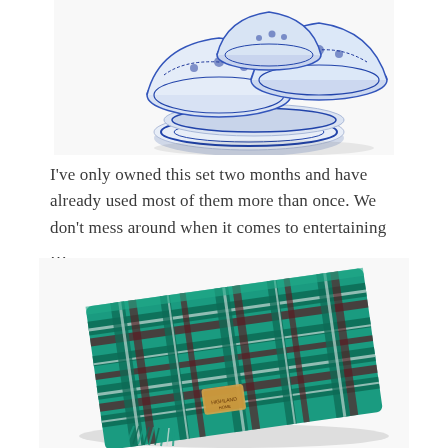[Figure (photo): Blue and white ceramic/china bowls and plates stacked together, with a willow pattern design, photographed on a white background.]
I've only owned this set two months and have already used most of them more than once. We don't mess around when it comes to entertaining …
[Figure (photo): A folded green tartan/plaid wool blanket or scarf with dark green, dark red/maroon, and white check pattern, with fringe at one end and a small label tag visible. Photographed on a white background.]